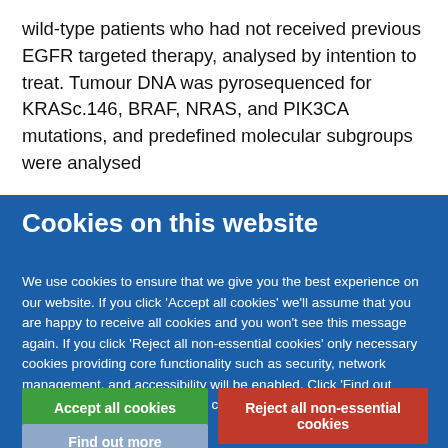wild-type patients who had not received previous EGFR targeted therapy, analysed by intention to treat. Tumour DNA was pyrosequenced for KRASc.146, BRAF, NRAS, and PIK3CA mutations, and predefined molecular subgroups were analysed
Cookies on this website
We use cookies to ensure that we give you the best experience on our website. If you click 'Accept all cookies' we'll assume that you are happy to receive all cookies and you won't see this message again. If you click 'Reject all non-essential cookies' only necessary cookies providing core functionality such as security, network management, and accessibility will be enabled. Click 'Find out more' for information on how to change your cookie settings.